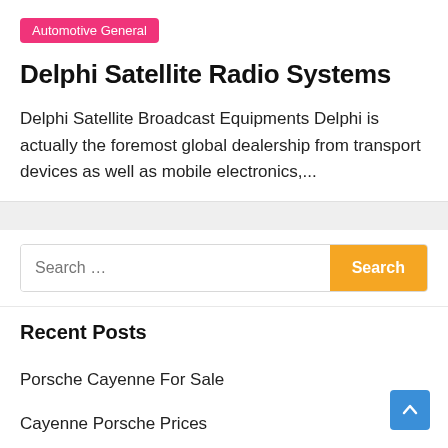Automotive General
Delphi Satellite Radio Systems
Delphi Satellite Broadcast Equipments Delphi is actually the foremost global dealership from transport devices as well as mobile electronics,...
Recent Posts
Porsche Cayenne For Sale
Cayenne Porsche Prices
Cayenne Porsche Prices